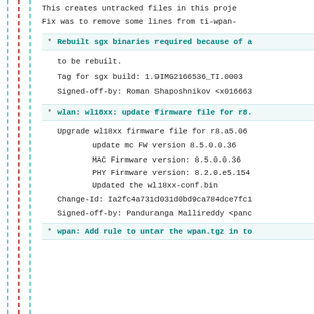This creates untracked files in this proje
Fix was to remove some lines from ti-wpan-
* Rebuilt sgx binaries required because of a
to be rebuilt.

Tag for sgx build: 1.9IMG2166536_TI.0003

Signed-off-by: Roman Shaposhnikov <x016663
* wlan: wl18xx: update firmware file for r8.
Upgrade wl18xx firmware file for r8.a5.06

    update mc FW version 8.5.0.0.36

    MAC Firmware version: 8.5.0.0.36
    PHY Firmware version: 8.2.0.e5.154
    Updated the wl18xx-conf.bin

Change-Id: Ia2fc4a731d031d0bd9ca784dce7fc1
Signed-off-by: Panduranga Mallireddy <panc
* wpan: Add rule to untar the wpan.tgz in to